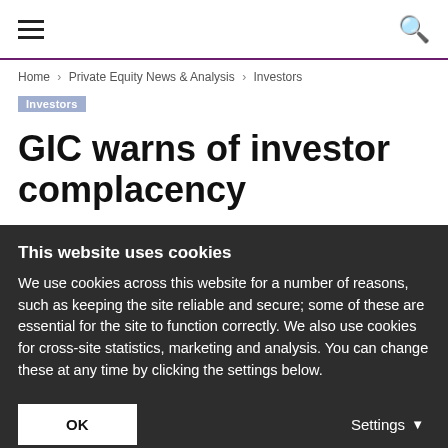≡  🔍
Home › Private Equity News & Analysis › Investors
Investors
GIC warns of investor complacency
This website uses cookies
We use cookies across this website for a number of reasons, such as keeping the site reliable and secure; some of these are essential for the site to function correctly. We also use cookies for cross-site statistics, marketing and analysis. You can change these at any time by clicking the settings below.
OK
Settings